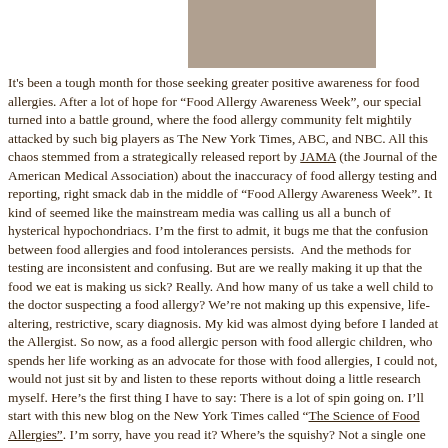[Figure (photo): Partial photo of a person, cropped, shown at top center of page]
It's been a tough month for those seeking greater positive awareness for food allergies. After a lot of hope for “Food Allergy Awareness Week”, our special turned into a battle ground, where the food allergy community felt mightily attacked by such big players as The New York Times, ABC, and NBC. All this chaos stemmed from a strategically released report by JAMA (the Journal of the American Medical Association) about the inaccuracy of food allergy testing and reporting, right smack dab in the middle of “Food Allergy Awareness Week”. It kind of seemed like the mainstream media was calling us all a bunch of hysterical hypochondriacs. I’m the first to admit, it bugs me that the confusion between food allergies and food intolerances persists. And the methods for testing are inconsistent and confusing. But are we really making it up that the food we eat is making us sick? Really. And how many of us take a well child to the doctor suspecting a food allergy? We’re not making up this expensive, life-altering, restrictive, scary diagnosis. My kid was almost dying before I landed at the Allergist. So now, as a food allergic person with food allergic children, who spends her life working as an advocate for those with food allergies, I could not, would not just sit by and listen to these reports without doing a little research myself. Here’s the first thing I have to say: There is a lot of spin going on. I’ll start with this new blog on the New York Times called “The Science of Food Allergies”. I’m sorry, have you read it? Where’s the squishy? Not a single one of the experts they profile says the same thing… that Food Allergies are on the rise. What they really mean, by “squishy”, is that Food Allergy TESTING is suspect, yet despite this, all agree that the number of people with food allergies